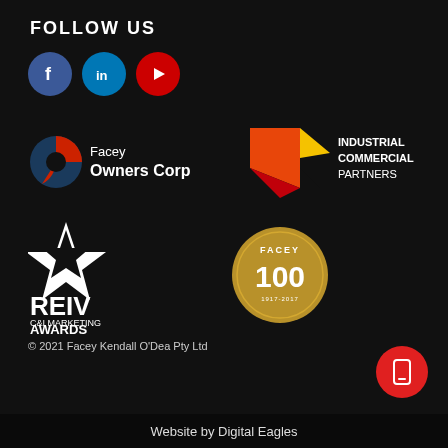FOLLOW US
[Figure (logo): Social media icons: Facebook (blue circle), LinkedIn (blue circle), YouTube (red circle)]
[Figure (logo): Facey Owners Corp logo with circular blue and red icon and text 'Facey Owners Corp']
[Figure (logo): Industrial Commercial Partners logo with geometric arrow shapes in red, orange, yellow and bold white text 'INDUSTRIAL COMMERCIAL PARTNERS']
[Figure (logo): REIV C&I Marketing Awards logo with white diamond star shape and text 'REIV C&I MARKETING AWARDS']
[Figure (logo): Facey 100 anniversary badge - gold circular badge with 'FACEY 100' and '1917-2017']
© 2021 Facey Kendall O'Dea Pty Ltd
Website by Digital Eagles